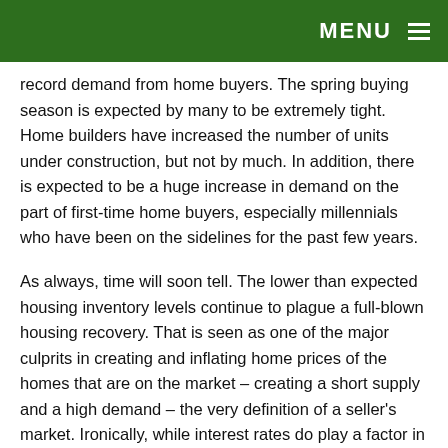MENU ☰
record demand from home buyers. The spring buying season is expected by many to be extremely tight. Home builders have increased the number of units under construction, but not by much. In addition, there is expected to be a huge increase in demand on the part of first-time home buyers, especially millennials who have been on the sidelines for the past few years.
As always, time will soon tell. The lower than expected housing inventory levels continue to plague a full-blown housing recovery. That is seen as one of the major culprits in creating and inflating home prices of the homes that are on the market – creating a short supply and a high demand – the very definition of a seller's market. Ironically, while interest rates do play a factor in the challenges of the spring selling season